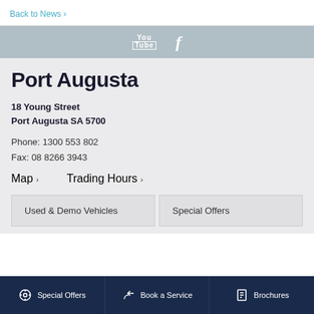Back to News ›
[Figure (other): Social media icons bar with YouTube and Facebook icons on gray background]
Port Augusta
18 Young Street
Port Augusta SA 5700
Phone: 1300 553 802
Fax: 08 8266 3943
Map › Trading Hours ›
Used & Demo Vehicles
Special Offers
Special Offers   Book a Service   Brochures